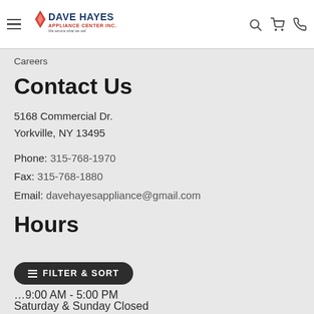Dave Hayes Appliance Center Inc. — We service what we sell.
Careers
Contact Us
5168 Commercial Dr.
Yorkville, NY 13495
Phone: 315-768-1970
Fax: 315-768-1880
Email: davehayesappliance@gmail.com
Hours
9:00 AM - 5:00 PM
Saturday & Sunday Closed